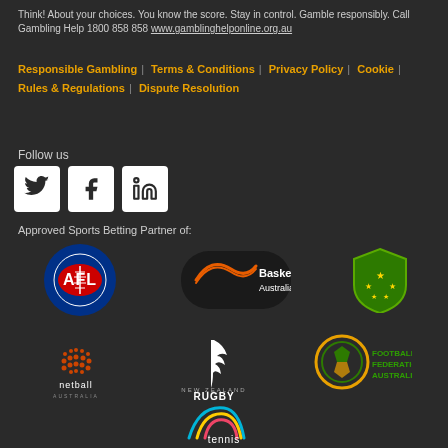Think! About your choices. You know the score. Stay in control. Gamble responsibly. Call Gambling Help 1800 858 858 www.gamblinghelponline.org.au
Responsible Gambling | Terms & Conditions | Privacy Policy | Cookie | Rules & Regulations | Dispute Resolution
Follow us
[Figure (logo): Twitter, Facebook, LinkedIn social media icons in white squares]
Approved Sports Betting Partner of:
[Figure (logo): AFL logo - Australian Football League circular logo with red and blue]
[Figure (logo): Basketball Australia logo - black oval with orange swish and white text]
[Figure (logo): Cricket Australia shield logo - green shield with gold stars]
[Figure (logo): Netball Australia logo - orange dot matrix sphere with netball australia text]
[Figure (logo): New Zealand Rugby logo - silver fern with NEW ZEALAND RUGBY text]
[Figure (logo): Football Federation Australia logo - circular emblem with green and gold]
[Figure (logo): Tennis Australia logo - colourful arching lines with tennis text]